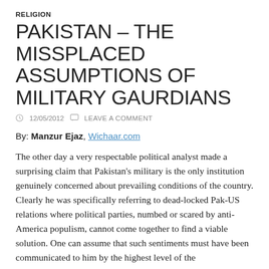RELIGION
PAKISTAN – THE MISSPLACED ASSUMPTIONS OF MILITARY GAURDIANS
12/05/2012   LEAVE A COMMENT
By: Manzur Ejaz, Wichaar.com
The other day a very respectable political analyst made a surprising claim that Pakistan's military is the only institution genuinely concerned about prevailing conditions of the country. Clearly he was specifically referring to dead-locked Pak-US relations where political parties, numbed or scared by anti-America populism, cannot come together to find a viable solution. One can assume that such sentiments must have been communicated to him by the highest level of the